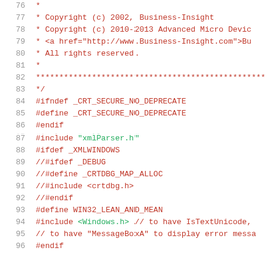Source code listing lines 76-96, showing C/C++ preprocessor directives and copyright comment block
76  *
77  * Copyright (c) 2002, Business-Insight
78  * Copyright (c) 2010-2013 Advanced Micro Devic
79  * <a href="http://www.Business-Insight.com">Bu
80  * All rights reserved.
81  *
82  ****...
83  */
84  #ifndef _CRT_SECURE_NO_DEPRECATE
85  #define _CRT_SECURE_NO_DEPRECATE
86  #endif
87  #include "xmlParser.h"
88  #ifdef _XMLWINDOWS
89  //#ifdef _DEBUG
90  //#define _CRTDBG_MAP_ALLOC
91  //#include <crtdbg.h>
92  //#endif
93  #define WIN32_LEAN_AND_MEAN
94  #include <Windows.h> // to have IsTextUnicode,
95  // to have "MessageBoxA" to display error messa
96  #endif